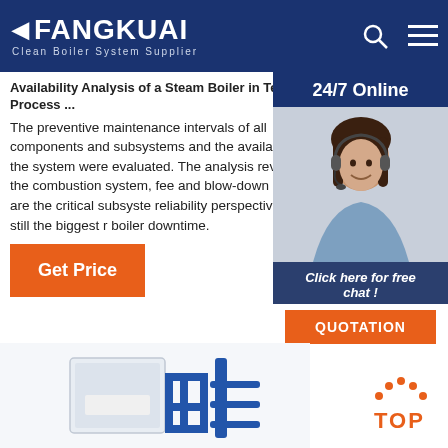FANGKUAI Clean Boiler System Supplier
Availability Analysis of a Steam Boiler in Textile Process ...
The preventive maintenance intervals of all components and subsystems and the availability of the system were evaluated. The analysis reveals that the combustion system, feed and blow-down system are the critical subsystems from a reliability perspective and are still the biggest reasons for boiler downtime.
Get Price
[Figure (photo): Customer service representative with headset, 24/7 Online chat widget with QUOTATION button]
[Figure (photo): Industrial steam boiler equipment photo at bottom of page]
[Figure (illustration): TOP scroll-to-top button with orange dots above orange TOP text]